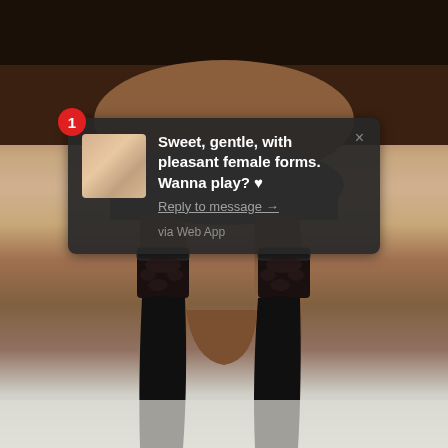[Figure (photo): A photograph of a woman's body from waist down, wearing grey shorts and black lace-top thigh-high stockings, posed against a light grey/white background. The upper portion shows a dark/shadowed torso.]
1 Sweet, gentle, with pleasant female forms. Wanna play? ♥ Reply to message → via Web App ×